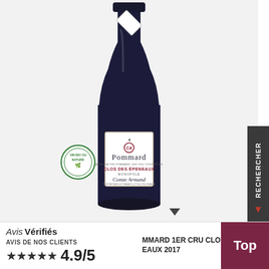[Figure (photo): Wine bottle of Pommard Clos des Épeneaux Monopole 2017 by Comte Armand, with a white label on a dark bottle. A circular green 'Vin Bio ou Nature' seal is visible on the lower left of the bottle. The bottle has a diamond-shaped top label.]
Avis Vérifiés
MMARD 1ER CRU CLO EAUX 2017
AVIS DE NOS CLIENTS
★★★★★ 4.9/5
Top